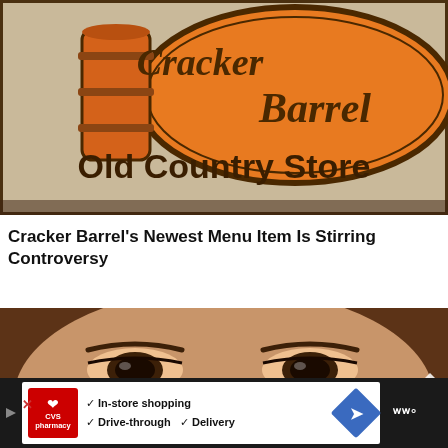[Figure (photo): Photo of Cracker Barrel Old Country Store sign — orange oval logo with 'Cracker Barrel' text and barrel graphic above 'Old Country Store' text on a beige background]
Cracker Barrel's Newest Menu Item Is Stirring Controversy
[Figure (photo): Close-up photo of a woman's face showing her eyes and nose, with brown hair and eye makeup]
[Figure (screenshot): CVS Pharmacy advertisement bar showing CVS logo, checkmarks for 'In-store shopping', 'Drive-through', 'Delivery', and a blue diamond arrow icon]